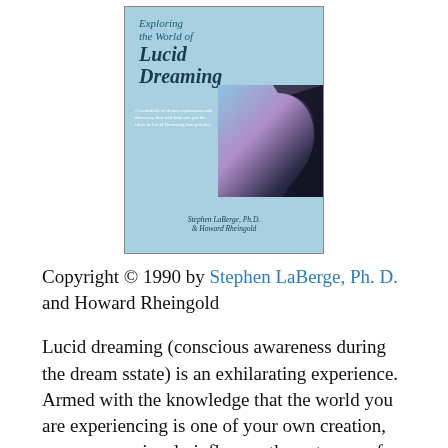[Figure (photo): Photo of the book cover 'Exploring the World of Lucid Dreaming' by Stephen LaBerge, Ph.D. & Howard Rheingold. The cover is light blue with teal/dark blue title text. There is an image of a human head silhouette with a cosmic/dreamy background on the right side of the cover.]
Copyright © 1990 by Stephen LaBerge, Ph. D. and Howard Rheingold
Lucid dreaming (conscious awareness during the dream sstate) is an exhilarating experience. Armed with the knowledge that the world you are experiencing is one of your own creation, you can conciously influence the outcome of your dremas. You can create and transform